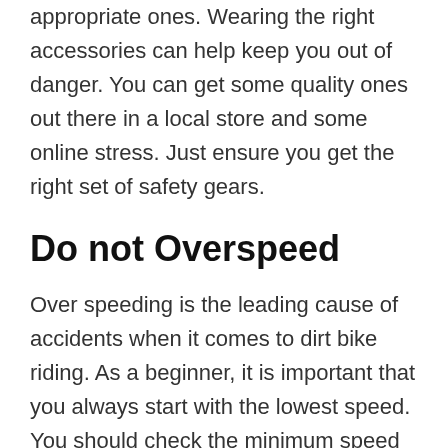appropriate ones. Wearing the right accessories can help keep you out of danger. You can get some quality ones out there in a local store and some online stress. Just ensure you get the right set of safety gears.
Do not Overspeed
Over speeding is the leading cause of accidents when it comes to dirt bike riding. As a beginner, it is important that you always start with the lowest speed. You should check the minimum speed of the bike and choose it as your starting point.
Speeding at the lowest speed will give you a